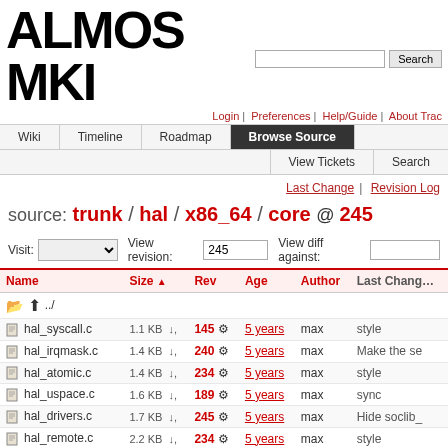ALMOS MKI — source browser header with Search, Login, Preferences, Help/Guide, About Trac navigation
Wiki | Timeline | Roadmap | Browse Source | View Tickets | Search
Last Change | Revision Log
source: trunk / hal / x86_64 / core @ 245
Visit: [dropdown]   View revision: 245   View diff against: [input]
| Name | Size ▲ | Rev | Age | Author | Last Chang… |
| --- | --- | --- | --- | --- | --- |
| ../ |  |  |  |  |  |
| hal_syscall.c | 1.1 KB | 145 | 5 years | max | style |
| hal_irqmask.c | 1.4 KB | 240 | 5 years | max | Make the se |
| hal_atomic.c | 1.4 KB | 234 | 5 years | max | style |
| hal_uspace.c | 1.6 KB | 189 | 5 years | max | sync |
| hal_drivers.c | 1.7 KB | 245 | 5 years | max | Hide soclib_ |
| hal_remote.c | 2.2 KB | 234 | 5 years | max | style |
| hal_internal.h | 2.5 KB | 242 | 5 years | max | add a dumb |
| hal_special.c | 2.7 KB | 234 | 5 years | max | style |
| hal_exception.c | 2.7 KB | 242 | 5 years | max | add a dumb |